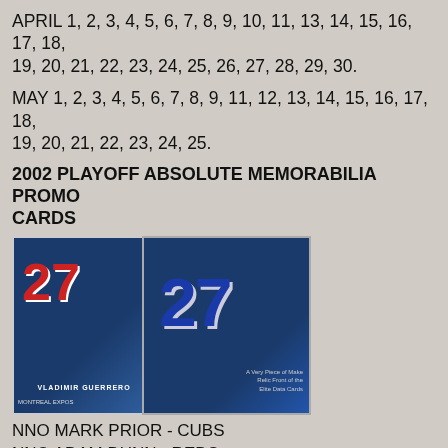APRIL 1, 2, 3, 4, 5, 6, 7, 8, 9, 10, 11, 13, 14, 15, 16, 17, 18, 19, 20, 21, 22, 23, 24, 25, 26, 27, 28, 29, 30.
MAY 1, 2, 3, 4, 5, 6, 7, 8, 9, 11, 12, 13, 14, 15, 16, 17, 18, 19, 20, 21, 22, 23, 24, 25.
2002 PLAYOFF ABSOLUTE MEMORABILIA PROMO CARDS
[Figure (photo): Two baseball trading cards featuring Vladimir Guerrero #27 of the Montreal Expos - front and back of a 2002 Playoff Absolute Memorabilia promo card]
NNO MARK PRIOR - CUBS
NNO ADAM DUNN - REDS
2002 TOPPS OPENING DAY SLAM DERBY SWEEPSTAKES DATE CARDS